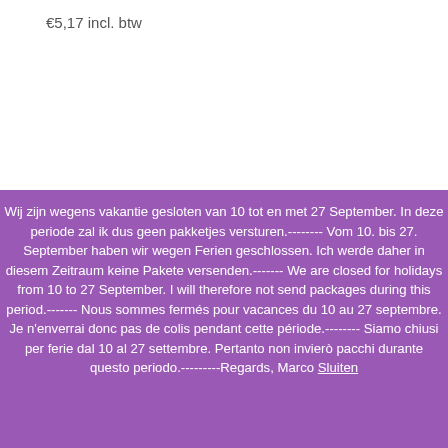€5,17 incl. btw
Wij zijn wegens vakantie gesloten van 10 tot en met 27 September. In deze periode zal ik dus geen pakketjes versturen.-------- Vom 10. bis 27. September haben wir wegen Ferien geschlossen. Ich werde daher in diesem Zeitraum keine Pakete versenden.------- We are closed for holidays from 10 to 27 September. I will therefore not send packages during this period.------- Nous sommes fermés pour vacances du 10 au 27 septembre. Je n'enverrai donc pas de colis pendant cette période.-------- Siamo chiusi per ferie dal 10 al 27 settembre. Pertanto non invierò pacchi durante questo periodo.---------Regards, Marco Sluiten